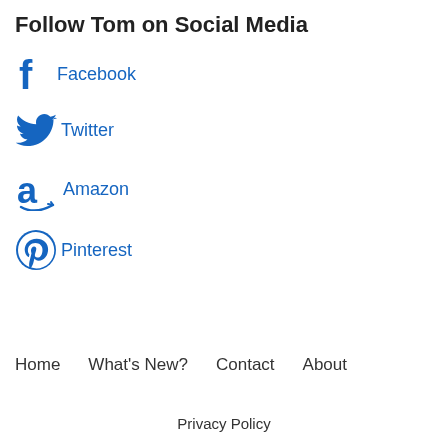Follow Tom on Social Media
Facebook
Twitter
Amazon
Pinterest
Home   What's New?   Contact   About
Privacy Policy